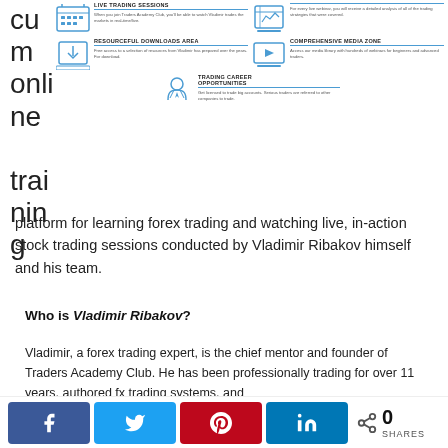[Figure (infographic): Infographic showing features of Traders Academy Club: Live Trading Sessions, analysis/webinars, Resourceful Downloads Area, Comprehensive Media Zone, Trading Career Opportunities. Icons arranged in a grid with short descriptions.]
cum online training platform for learning forex trading and watching live, in-action stock trading sessions conducted by Vladimir Ribakov himself and his team.
Who is Vladimir Ribakov?
Vladimir, a forex trading expert, is the chief mentor and founder of Traders Academy Club. He has been professionally trading for over 11 years, authored fx trading systems, and